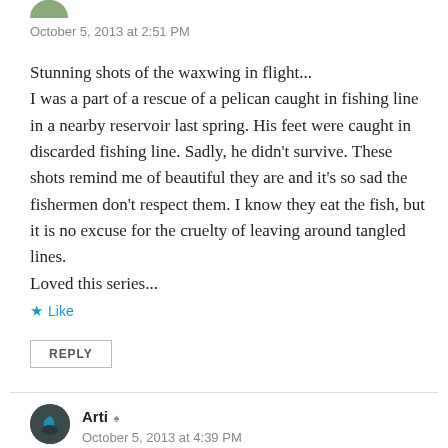[Figure (photo): Small circular avatar image of a commenter, partially visible at top]
October 5, 2013 at 2:51 PM
Stunning shots of the waxwing in flight... I was a part of a rescue of a pelican caught in fishing line in a nearby reservoir last spring. His feet were caught in discarded fishing line. Sadly, he didn't survive. These shots remind me of beautiful they are and it's so sad the fishermen don't respect them. I know they eat the fish, but it is no excuse for the cruelty of leaving around tangled lines. Loved this series...
★ Like
REPLY
[Figure (photo): Small circular dark avatar for user Arti]
Arti ♣
October 5, 2013 at 4:39 PM